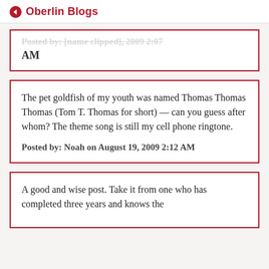Oberlin Blogs
Posted by: [clipped] AM
The pet goldfish of my youth was named Thomas Thomas Thomas (Tom T. Thomas for short) — can you guess after whom? The theme song is still my cell phone ringtone.
Posted by: Noah on August 19, 2009 2:12 AM
A good and wise post. Take it from one who has completed three years and knows the [clipped]